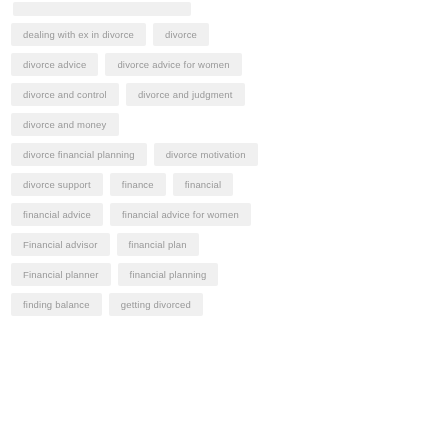dealing with ex in divorce
divorce
divorce advice
divorce advice for women
divorce and control
divorce and judgment
divorce and money
divorce financial planning
divorce motivation
divorce support
finance
financial
financial advice
financial advice for women
Financial advisor
financial plan
Financial planner
financial planning
finding balance
getting divorced